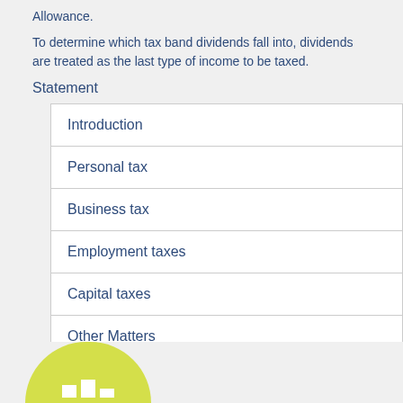Allowance.
To determine which tax band dividends fall into, dividends are treated as the last type of income to be taxed.
Statement
| Introduction |
| Personal tax |
| Business tax |
| Employment taxes |
| Capital taxes |
| Other Matters |
[Figure (illustration): Partial view of a yellow-green circle with white bar chart elements inside, visible at the bottom of the page.]